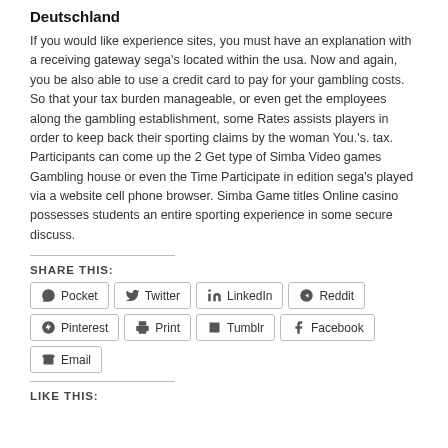Deutschland
If you would like experience sites, you must have an explanation with a receiving gateway sega’s located within the usa. Now and again, you be also able to use a credit card to pay for your gambling costs. So that your tax burden manageable, or even get the employees along the gambling establishment, some Rates assists players in order to keep back their sporting claims by the woman You.’s. tax. Participants can come up the 2 Get type of Simba Video games Gambling house or even the Time Participate in edition sega’s played via a website cell phone browser. Simba Game titles Online casino possesses students an entire sporting experience in some secure discuss.
SHARE THIS:
Pocket
Twitter
LinkedIn
Reddit
Pinterest
Print
Tumblr
Facebook
Email
LIKE THIS: